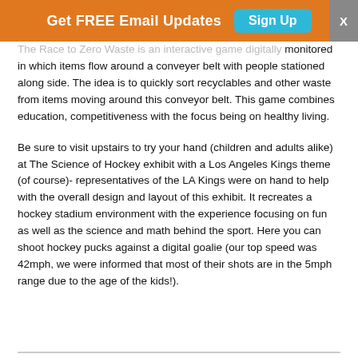Get FREE Email Updates  Sign Up  X
The Race to Zero Waste is an interactive game digitally monitored in which items flow around a conveyer belt with people stationed along side. The idea is to quickly sort recyclables and other waste from items moving around this conveyor belt. This game combines education, competitiveness with the focus being on healthy living.
Be sure to visit upstairs to try your hand (children and adults alike) at The Science of Hockey exhibit with a Los Angeles Kings theme (of course)- representatives of the LA Kings were on hand to help with the overall design and layout of this exhibit. It recreates a hockey stadium environment with the experience focusing on fun as well as the science and math behind the sport. Here you can shoot hockey pucks against a digital goalie (our top speed was 42mph, we were informed that most of their shots are in the 5mph range due to the age of the kids!).